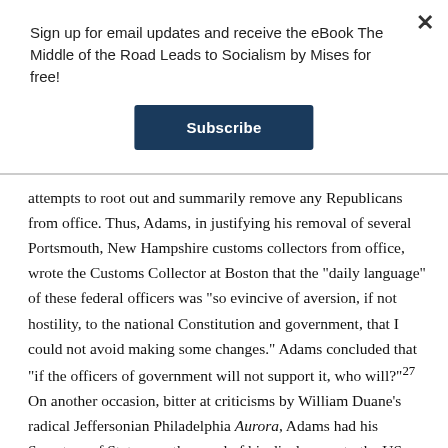Sign up for email updates and receive the eBook The Middle of the Road Leads to Socialism by Mises for free!
Subscribe
attempts to root out and summarily remove any Republicans from office. Thus, Adams, in justifying his removal of several Portsmouth, New Hampshire customs collectors from office, wrote the Customs Collector at Boston that the "daily language" of these federal officers was "so evincive of aversion, if not hostility, to the national Constitution and government, that I could not avoid making some changes." Adams concluded that "if the officers of government will not support it, who will?"27 On another occasion, bitter at criticisms by William Duane's radical Jeffersonian Philadelphia Aurora, Adams had his Secretary of State pass the word of his displeasure to the US Attorney for Pennsylvania William Rawle, for not cracking down on the Aurora